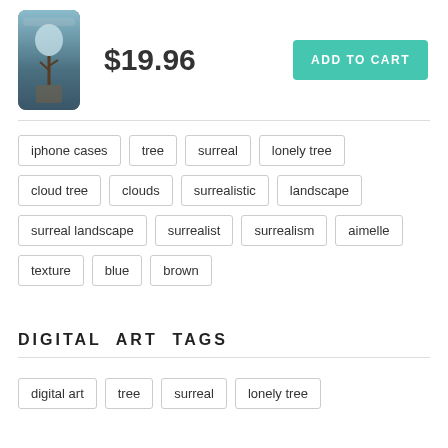[Figure (photo): Product thumbnail of an iPhone case with surreal cloud tree art]
$19.96
ADD TO CART
iphone cases
tree
surreal
lonely tree
cloud tree
clouds
surrealistic
landscape
surreal landscape
surrealist
surrealism
aimelle
texture
blue
brown
DIGITAL  ART  TAGS
digital art
tree
surreal
lonely tree